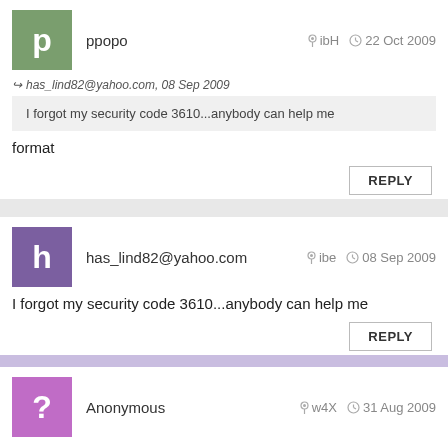ppopo — ibH — 22 Oct 2009
↪ has_lind82@yahoo.com, 08 Sep 2009
I forgot my security code 3610...anybody can help me
format
REPLY
has_lind82@yahoo.com — ibe — 08 Sep 2009
I forgot my security code 3610...anybody can help me
REPLY
Anonymous — w4X — 31 Aug 2009